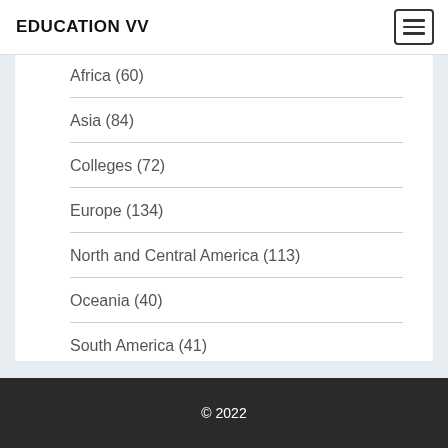EDUCATION VV
Africa (60)
Asia (84)
Colleges (72)
Europe (134)
North and Central America (113)
Oceania (40)
South America (41)
© 2022